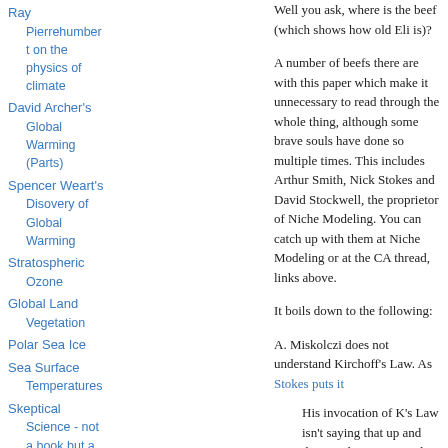Ray Pierrehumber t on the physics of climate
David Archer's Global Warming (Parts)
Spencer Weart's Disovery of Global Warming
Stratospheric Ozone
Global Land Vegetation
Polar Sea Ice
Sea Surface Temperatures
Skeptical Science - not a book but a resource
MOSTLY SCIENCE
Well you ask, where is the beef (which shows how old Eli is)?
A number of beefs there are with this paper which make it unnecessary to read through the whole thing, although some brave souls have done so multiple times. This includes Arthur Smith, Nick Stokes and David Stockwell, the proprietor of Niche Modeling. You can catch up with them at Niche Modeling or at the CA thread, links above.
It boils down to the following:
A. Miskolczi does not understand Kirchoff's Law. As Stokes puts it
His invocation of K's Law isn't saying that up and down radiation is equal. The balance at the surface is expressed in his Eq 2. What he is equating is down radiation E_D